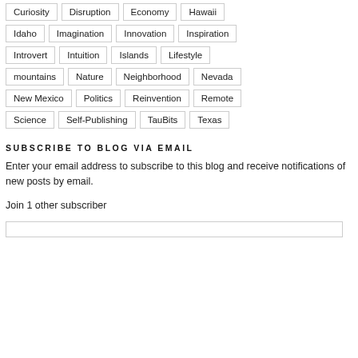Curiosity
Disruption
Economy
Hawaii
Idaho
Imagination
Innovation
Inspiration
Introvert
Intuition
Islands
Lifestyle
mountains
Nature
Neighborhood
Nevada
New Mexico
Politics
Reinvention
Remote
Science
Self-Publishing
TauBits
Texas
SUBSCRIBE TO BLOG VIA EMAIL
Enter your email address to subscribe to this blog and receive notifications of new posts by email.
Join 1 other subscriber